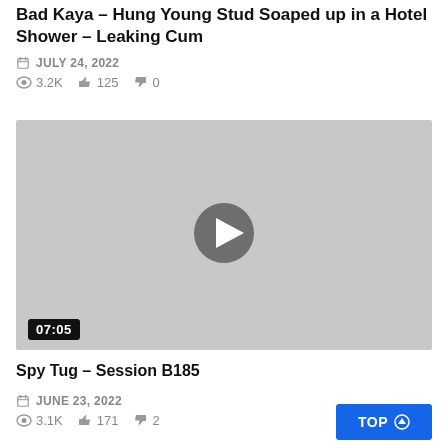Bad Kaya – Hung Young Stud Soaped up in a Hotel Shower – Leaking Cum
JULY 24, 2022  👁 3.2K  👍 125  👎 0
[Figure (screenshot): Video thumbnail placeholder with play button and duration 07:05]
Spy Tug – Session B185
JUNE 23, 2022  👁 3.1K  👍 171  👎 2